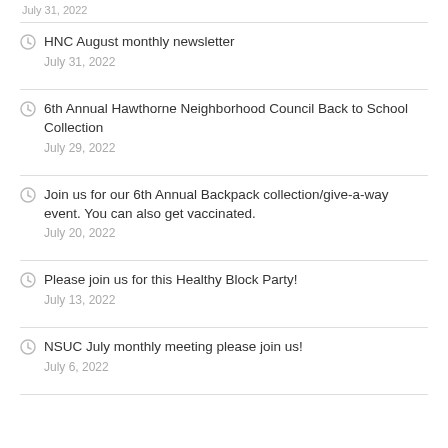July 31, 2022
HNC August monthly newsletter
July 31, 2022
6th Annual Hawthorne Neighborhood Council Back to School Collection
July 29, 2022
Join us for our 6th Annual Backpack collection/give-a-way event. You can also get vaccinated.
July 20, 2022
Please join us for this Healthy Block Party!
July 13, 2022
NSUC July monthly meeting please join us!
July 6, 2022